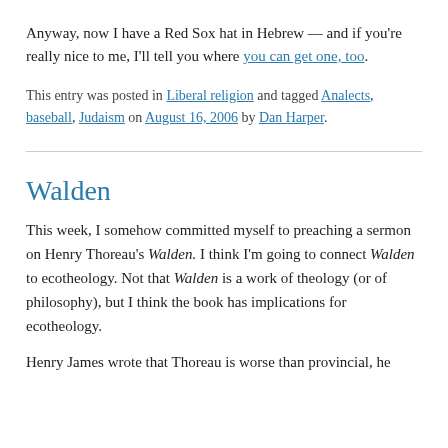Anyway, now I have a Red Sox hat in Hebrew — and if you're really nice to me, I'll tell you where you can get one, too.
This entry was posted in Liberal religion and tagged Analects, baseball, Judaism on August 16, 2006 by Dan Harper.
Walden
This week, I somehow committed myself to preaching a sermon on Henry Thoreau's Walden. I think I'm going to connect Walden to ecotheology. Not that Walden is a work of theology (or of philosophy), but I think the book has implications for ecotheology.
Henry James wrote that Thoreau is worse than provincial, he